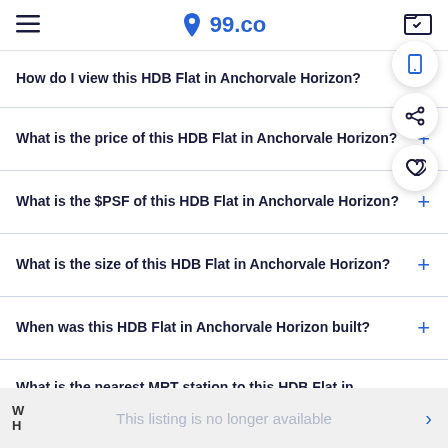99.co
How do I view this HDB Flat in Anchorvale Horizon?
What is the price of this HDB Flat in Anchorvale Horizon?
What is the $PSF of this HDB Flat in Anchorvale Horizon?
What is the size of this HDB Flat in Anchorvale Horizon?
When was this HDB Flat in Anchorvale Horizon built?
What is the nearest MRT station to this HDB Flat in Anchorvale Horizon?
This listing is no longer available